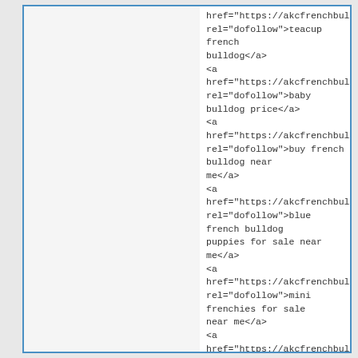href="https://akcfrenchbulldogsforsale.cc rel="dofollow">teacup french bulldog</a>
<a href="https://akcfrenchbulldogsforsale.cc rel="dofollow">baby bulldog price</a>
<a href="https://akcfrenchbulldogsforsale.cc rel="dofollow">buy french bulldog near me</a>
<a href="https://akcfrenchbulldogsforsale.cc rel="dofollow">blue french bulldog puppies for sale near me</a>
<a href="https://akcfrenchbulldogsforsale.cc rel="dofollow">mini frenchies for sale near me</a>
<a href="https://akcfrenchbulldogsforsale.cc rel="dofollow">french bulldog baby price</a>
<a href="https://akcfrenchbulldogsforsale.cc rel="dofollow">teacup french bulldog for sale near me</a>
<a href="https://akcfrenchbulldogsforsale.cc rel="dofollow">teacup french bulldog